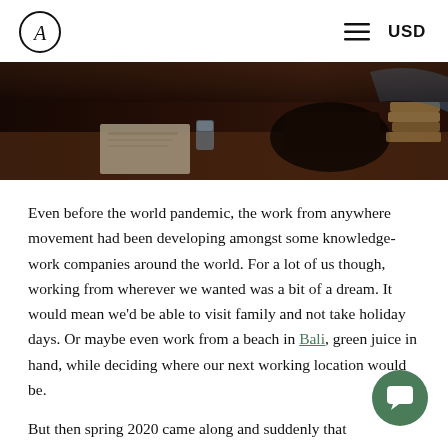A [logo] — hamburger menu — USD
[Figure (photo): Dark moody photo of a desk with papers, a glass of water, books stacked, and a sewing machine or typewriter in the background — a workspace scene.]
Even before the world pandemic, the work from anywhere movement had been developing amongst some knowledge-work companies around the world. For a lot of us though, working from wherever we wanted was a bit of a dream. It would mean we'd be able to visit family and not take holiday days. Or maybe even work from a beach in Bali, green juice in hand, while deciding where our next working location would be.
But then spring 2020 came along and suddenly that